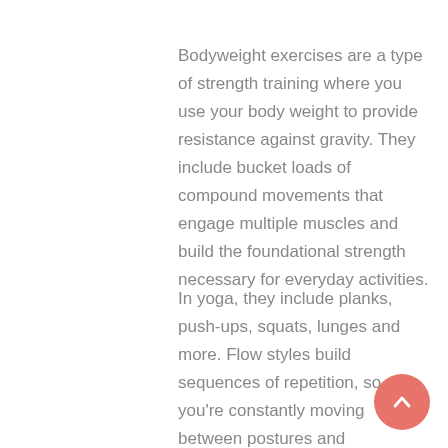Bodyweight exercises are a type of strength training where you use your body weight to provide resistance against gravity. They include bucket loads of compound movements that engage multiple muscles and build the foundational strength necessary for everyday activities.
In yoga, they include planks, push-ups, squats, lunges and more. Flow styles build sequences of repetition, so you’re constantly moving between postures and challenging different areas.
Best of all, bodyweight exercises build strength and flexibility simultaneously. For example, plank strengthens the abdominal and oblique muscles while lengthening the arches of your feet and hamstrings.
[Figure (other): Salmon/coral colored circular scroll-to-top button with an upward-pointing chevron arrow, positioned in the bottom-right corner.]